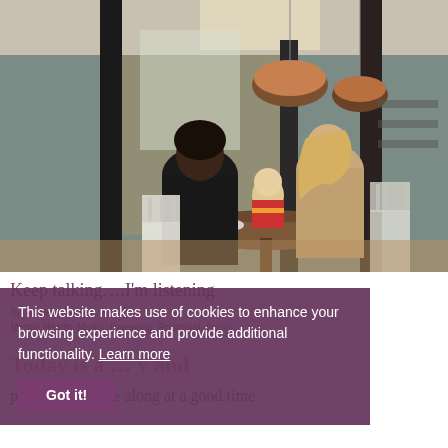[Figure (photo): Two women sitting at a cafe/restaurant table with a baby, having coffee/tea. The interior has pendant lights, wooden chairs including white-painted ones, and dark pillars. Warm, cozy atmosphere.]
Keep talking….I'm listening
By, Anxiety, Babies, Health, Mental Health, Mums, Parenting, Postnatal, Social
Today is a … y and perhaps it's come along at a good time
This website makes use of cookies to enhance your browsing experience and provide additional functionality. Learn more